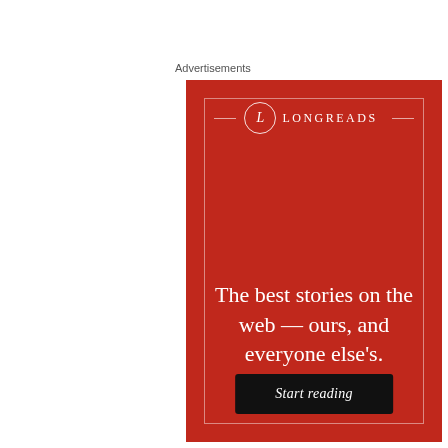Advertisements
[Figure (illustration): Longreads advertisement banner on a deep red background. Features the Longreads logo (circle with letter L) and brand name at the top with decorative horizontal lines. Main text reads: 'The best stories on the web — ours, and everyone else's.' A black 'Start reading' button appears at the bottom.]